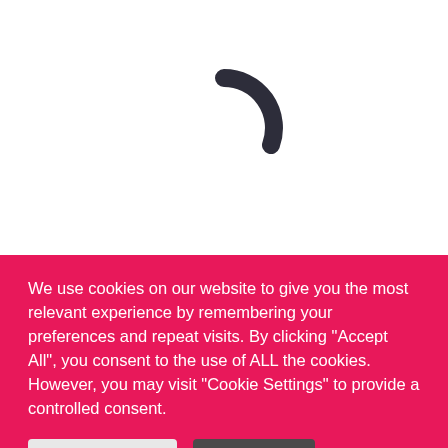[Figure (logo): Partial circular arc shape in dark charcoal/black, resembling the top portion of a loading spinner or a stylized letter C, centered in the white upper section of the page.]
We use cookies on our website to give you the most relevant experience by remembering your preferences and repeat visits. By clicking “Accept All”, you consent to the use of ALL the cookies. However, you may visit "Cookie Settings" to provide a controlled consent.
Cookie Settings
Accept All